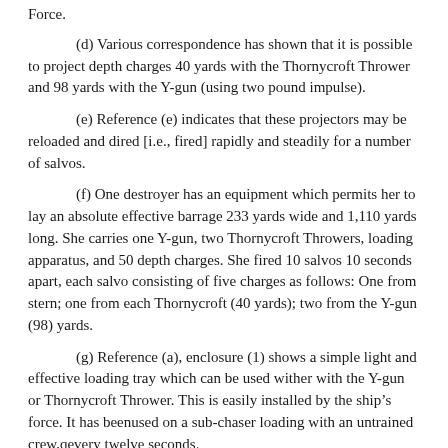Force.
(d) Various correspondence has shown that it is possible to project depth charges 40 yards with the Thornycroft Thrower and 98 yards with the Y-gun (using two pound impulse).
(e) Reference (e) indicates that these projectors may be reloaded and dired [i.e., fired] rapidly and steadily for a number of salvos.
(f) One destroyer has an equipment which permits her to lay an absolute effective barrage 233 yards wide and 1,110 yards long. She carries one Y-gun, two Thornycroft Throwers, loading apparatus, and 50 depth charges. She fired 10 salvos 10 seconds apart, each salvo consisting of five charges as follows: One from stern; one from each Thornycroft (40 yards); two from the Y-gun (98) yards.
(g) Reference (a), enclosure (1) shows a simple light and effective loading tray which can be used wither with the Y-gun or Thornycroft Thrower. This is easily installed by the ship’s force. It has beenused on a sub-chaser loading with an untrained crew,qevery twelve seconds.
5.  The above references show that a wide and effective sustained